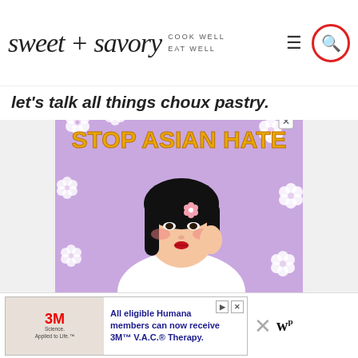sweet + savory COOK WELL EAT WELL
let's talk all things choux pastry.
[Figure (illustration): Stop Asian Hate advertisement showing an illustrated Asian woman with cherry blossom flowers on a lavender background with bold yellow text reading STOP ASIAN HATE]
[Figure (illustration): 3M Science. Applied to Life. advertisement banner with text: All eligible Humana members can now receive 3M V.A.C. Therapy.]